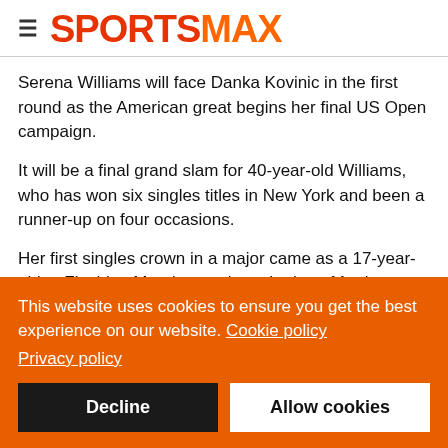SPORTSMAX
Serena Williams will face Danka Kovinic in the first round as the American great begins her final US Open campaign.
It will be a final grand slam for 40-year-old Williams, who has won six singles titles in New York and been a runner-up on four occasions.
Her first singles crown in a major came as a 17-year-old at Flushing Meadows, when she beat Martina Hingis in the 1999 final.
This website uses cookies to ensure you get the best experience on our website. Cookie policy
Privacy policy
Decline | Allow cookies